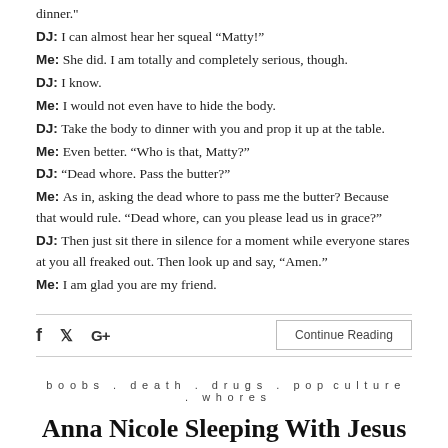dinner."
DJ: I can almost hear her squeal “Matty!”
Me: She did. I am totally and completely serious, though.
DJ: I know.
Me: I would not even have to hide the body.
DJ: Take the body to dinner with you and prop it up at the table.
Me: Even better. “Who is that, Matty?”
DJ: “Dead whore. Pass the butter?”
Me: As in, asking the dead whore to pass me the butter? Because that would rule. “Dead whore, can you please lead us in grace?”
DJ: Then just sit there in silence for a moment while everyone stares at you all freaked out. Then look up and say, “Amen.”
Me: I am glad you are my friend.
Continue Reading
boobs . death . drugs . pop culture . whores
Anna Nicole Sleeping With Jesus
February 9, 2007   No Comments